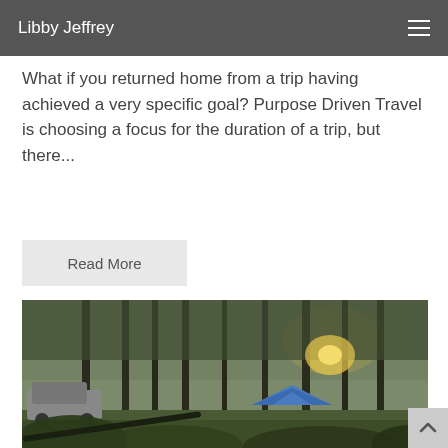Libby Jeffrey
What if you returned home from a trip having achieved a very specific goal? Purpose Driven Travel is choosing a focus for the duration of a trip, but there...
Read More
[Figure (photo): Outdoor forest campsite scene with tall pine trees, a blue tent, parked cars, and sunlight filtering through the trees in the background]